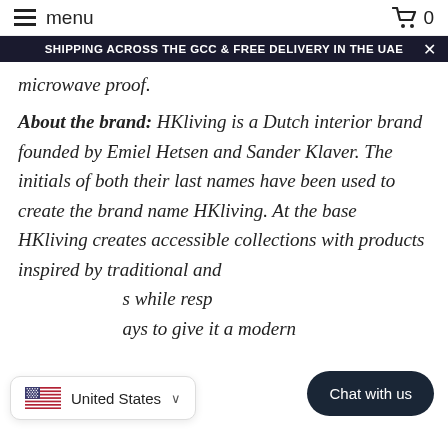menu  0
SHIPPING ACROSS THE GCC & FREE DELIVERY IN THE UAE
microwave proof.
About the brand: HKliving is a Dutch interior brand founded by Emiel Hetsen and Sander Klaver. The initials of both their last names have been used to create the brand name HKliving. At the base HKliving creates accessible collections with products inspired by traditional and ... s while resp... ays to give it a modem
United States
Chat with us